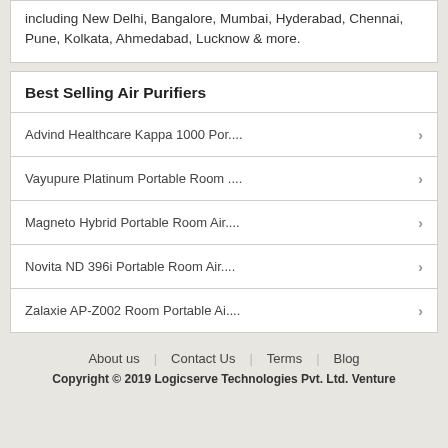including New Delhi, Bangalore, Mumbai, Hyderabad, Chennai, Pune, Kolkata, Ahmedabad, Lucknow & more.
Best Selling Air Purifiers
Advind Healthcare Kappa 1000 Por....
Vayupure Platinum Portable Room ....
Magneto Hybrid Portable Room Air....
Novita ND 396i Portable Room Air....
Zalaxie AP-Z002 Room Portable Ai....
About us | Contact Us | Terms | Blog
Copyright © 2019 Logicserve Technologies Pvt. Ltd. Venture